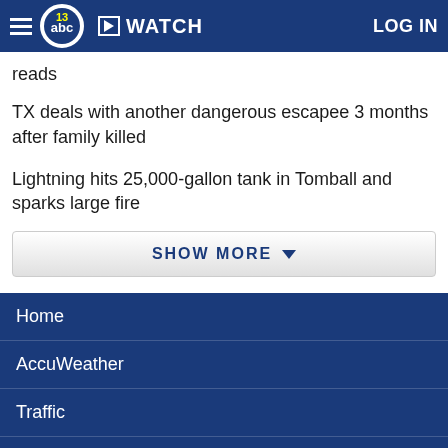ABC13 | WATCH | LOG IN
reads
TX deals with another dangerous escapee 3 months after family killed
Lightning hits 25,000-gallon tank in Tomball and sparks large fire
SHOW MORE
Home
AccuWeather
Traffic
Local News
Categories
Station Info